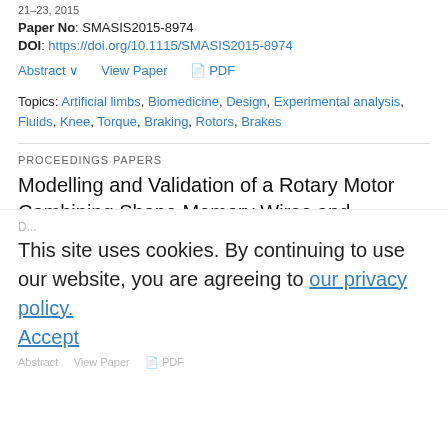21–23, 2015
Paper No: SMASIS2015-8974
DOI: https://doi.org/10.1115/SMASIS2015-8974
Abstract ∨   View Paper   PDF
Topics: Artificial limbs, Biomedicine, Design, Experimental analysis, Fluids, Knee, Torque, Braking, Rotors, Brakes
PROCEEDINGS PAPERS
Modelling and Validation of a Rotary Motor Combining Shape Memory Wires and Overrunning Clutches
Giovanni Scirè Mammano, Eugenio Dragoni
Proc. ASME. SMASIS2014, Volume 1: Development and Characterization of Multifunctional Materials; Modeling, Simulation and Control of Adaptive Systems; Structural Health Monitoring; Keynote Presentation, V001T03A001, September 8–10, 2014
Paper No: SMASIS2014-7406
This site uses cookies. By continuing to use our website, you are agreeing to our privacy policy. Accept